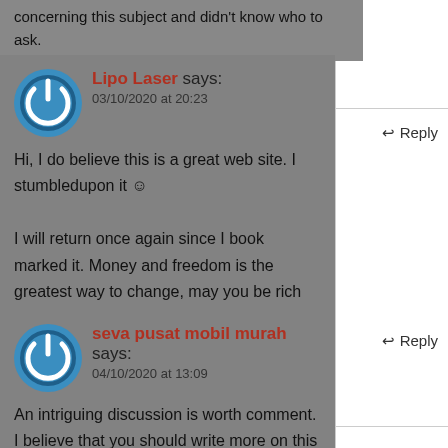concerning this subject and didn't know who to ask.
Lipo Laser says:
03/10/2020 at 20:23
Hi, I do believe this is a great web site. I stumbledupon it 😊 I will return once again since I book marked it. Money and freedom is the greatest way to change, may you be rich and continue to help others.
seva pusat mobil murah says:
04/10/2020 at 13:09
An intriguing discussion is worth comment. I believe that you should write more on this issue, it may not be a taboo subject but typically folks don't speak about these topics.